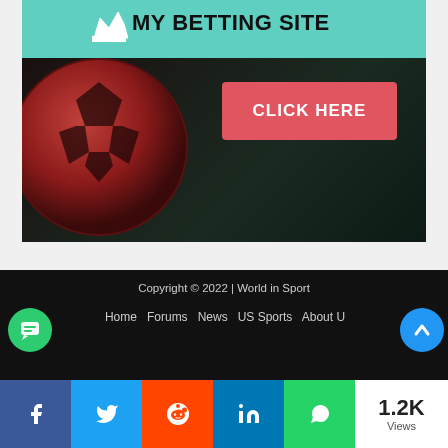[Figure (illustration): Betting site advertisement banner with soccer ball on dark background, teal header with crown icon and 'MY BETTING SITE' text, and a red 'CLICK HERE' button]
Copyright © 2022 | World in Sport
Home   Forums   News   US Sports   About Us
[Figure (infographic): Social share bar with Facebook, Twitter, Reddit, LinkedIn, WhatsApp icons, plus 1.2K Views counter]